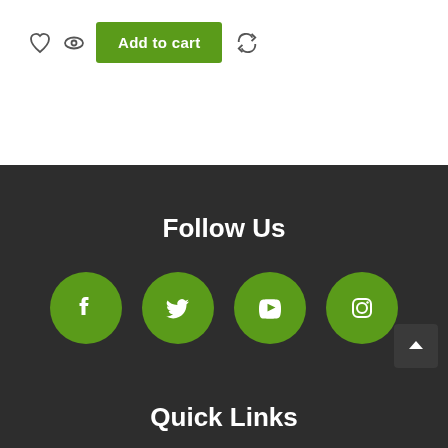[Figure (screenshot): E-commerce product action bar with heart/wishlist icon, eye/preview icon, green 'Add to cart' button, and refresh/compare icon]
Follow Us
[Figure (infographic): Four green circular social media icons: Facebook, Twitter, YouTube, Instagram]
Quick Links